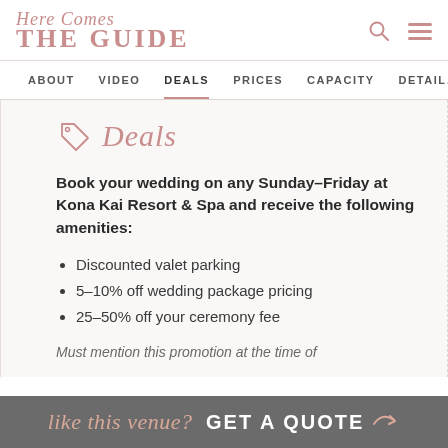Here Comes THE GUIDE
ABOUT  VIDEO  DEALS  PRICES  CAPACITY  DETAILS
Deals
Book your wedding on any Sunday–Friday at Kona Kai Resort & Spa and receive the following amenities:
Discounted valet parking
5–10% off wedding package pricing
25–50% off your ceremony fee
Must mention this promotion at the time of
like this venue? GET A QUOTE